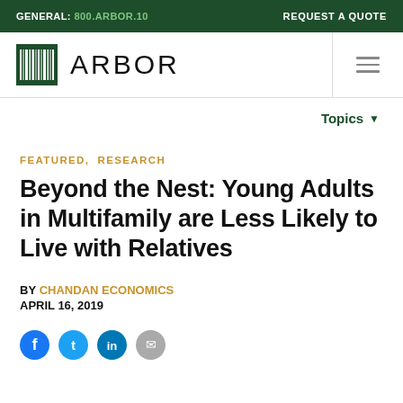GENERAL: 800.ARBOR.10   REQUEST A QUOTE
[Figure (logo): Arbor company logo with tree barcode icon and ARBOR wordmark]
Topics
FEATURED,  RESEARCH
Beyond the Nest: Young Adults in Multifamily are Less Likely to Live with Relatives
BY CHANDAN ECONOMICS
APRIL 16, 2019